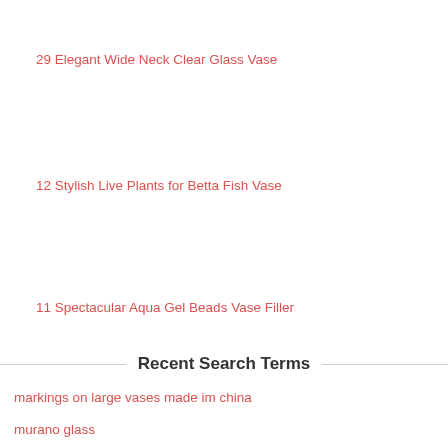29 Elegant Wide Neck Clear Glass Vase
12 Stylish Live Plants for Betta Fish Vase
11 Spectacular Aqua Gel Beads Vase Filler
Recent Search Terms
markings on large vases made im china
murano glass